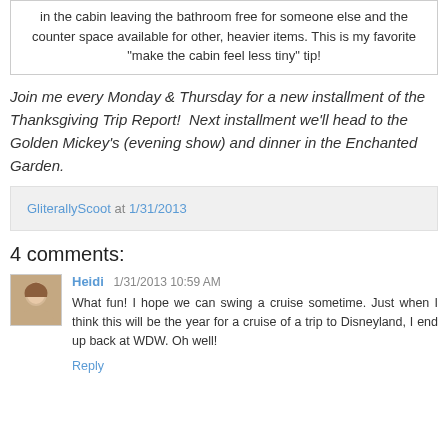in the cabin leaving the bathroom free for someone else and the counter space available for other, heavier items. This is my favorite "make the cabin feel less tiny" tip!
Join me every Monday & Thursday for a new installment of the Thanksgiving Trip Report!  Next installment we'll head to the Golden Mickey's (evening show) and dinner in the Enchanted Garden.
GliterallyScoot at 1/31/2013
4 comments:
Heidi  1/31/2013 10:59 AM
What fun! I hope we can swing a cruise sometime. Just when I think this will be the year for a cruise of a trip to Disneyland, I end up back at WDW. Oh well!
Reply